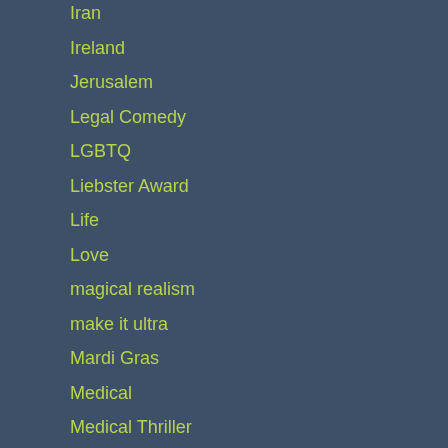Iran
Ireland
Jerusalem
Legal Comedy
LGBTQ
Liebster Award
Life
Love
magical realism
make it ultra
Mardi Gras
Medical
Medical Thriller
Memoir/Biography
Mental Health
Middle East
Modern Crime Fiction
Multiple Sclerosis